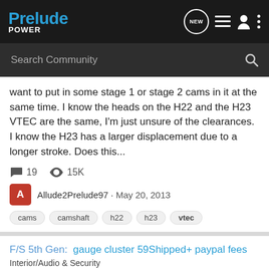Prelude Power
Search Community
want to put in some stage 1 or stage 2 cams in it at the same time. I know the heads on the H22 and the H23 VTEC are the same, I'm just unsure of the clearances. I know the H23 has a larger displacement due to a longer stroke. Does this...
19  15K
Allude2Prelude97 · May 20, 2013
cams
camshaft
h22
h23
vtec
F/S 5th Gen:  gauge cluster 59Shipped+ paypal fees
Interior/Audio & Security
Does anyone need a cluster or to retrofit into a 3rd gen, 2nd etc.? I have one with 179-180k works good 59shipped + paypal fees text me for pictures 317 397 61 97 Ill try and